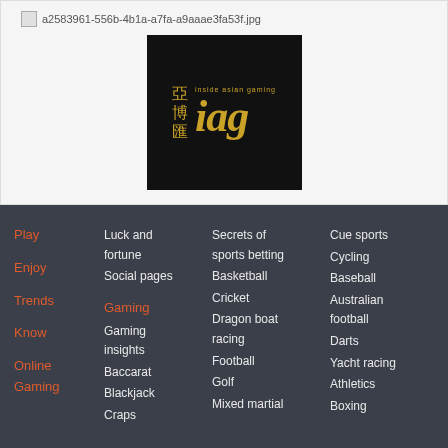a2583961-556b-4b1a-a7fa-a9aaae3fa53f.jpg
[Figure (logo): Inside Asian Gaming (IAG) logo — black square background with Chinese characters on the left and golden italic 'iag' text with 'inside asian gaming' subtitle on the right]
Play
Enjoy
Trends
Know
Online Gaming
Luck and fortune
Social pages
Gaming
Gaming insights
Baccarat
Blackjack
Craps
Secrets of sports betting
Basketball
Cricket
Dragon boat racing
Football
Golf
Mixed martial
Cue sports
Cycling
Baseball
Australian football
Darts
Yacht racing
Athletics
Boxing